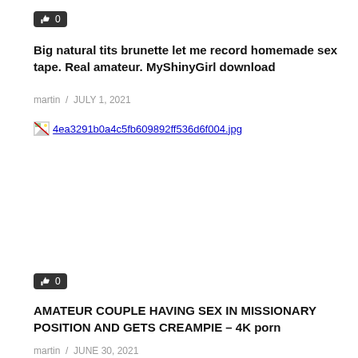[Figure (other): Like button with thumbs up icon showing count 0, dark background]
Big natural tits brunette let me record homemade sex tape. Real amateur. MyShinyGirl download
martin  /  JULY 1, 2021
[Figure (other): Broken image placeholder linking to 4ea3291b0a4c5fb609892ff536d6f004.jpg]
[Figure (other): Like button with thumbs up icon showing count 0, dark background]
AMATEUR COUPLE HAVING SEX IN MISSIONARY POSITION AND GETS CREAMPIE – 4K porn
martin  /  JUNE 30, 2021